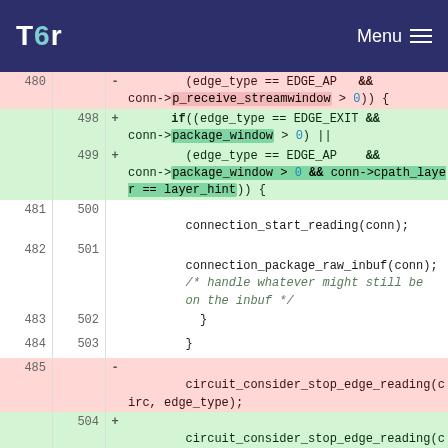Tor  Menu
[Figure (screenshot): Code diff view showing changes to edge connection logic in Tor source code. Lines 480-504 showing removed lines (red) with p_receive_streamwindow check and added lines (green) with package_window and cpath_layer checks.]